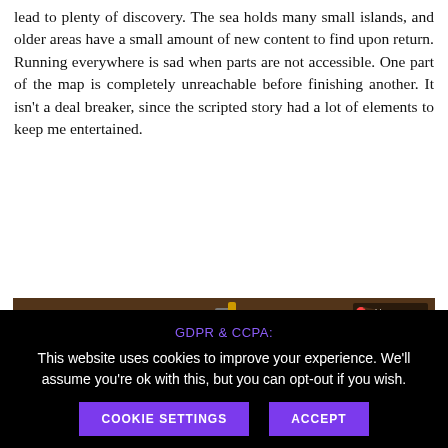lead to plenty of discovery. The sea holds many small islands, and older areas have a small amount of new content to find upon return. Running everywhere is sad when parts are not accessible. One part of the map is completely unreachable before finishing another. It isn't a deal breaker, since the scripted story had a lot of elements to keep me entertained.
[Figure (screenshot): In-game screenshot showing a yellow robotic/armored character with a metallic helmet, wearing green and red armor, standing in a dark rocky/cave environment. A 'Skip ON' button is visible in the top right corner.]
GDPR & CCPA:
This website uses cookies to improve your experience. We'll assume you're ok with this, but you can opt-out if you wish.
COOKIE SETTINGS    ACCEPT